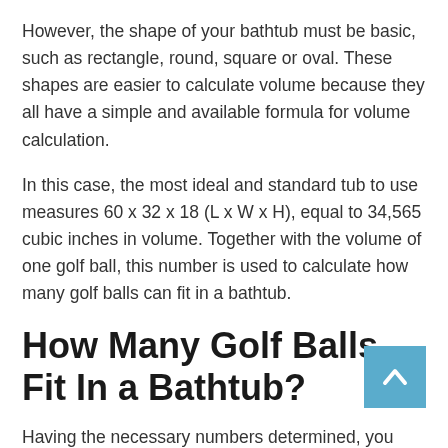However, the shape of your bathtub must be basic, such as rectangle, round, square or oval. These shapes are easier to calculate volume because they all have a simple and available formula for volume calculation.
In this case, the most ideal and standard tub to use measures 60 x 32 x 18 (L x W x H), equal to 34,565 cubic inches in volume. Together with the volume of one golf ball, this number is used to calculate how many golf balls can fit in a bathtub.
How Many Golf Balls Fit In a Bathtub?
Having the necessary numbers determined, you can now calculate the number of balls needed to